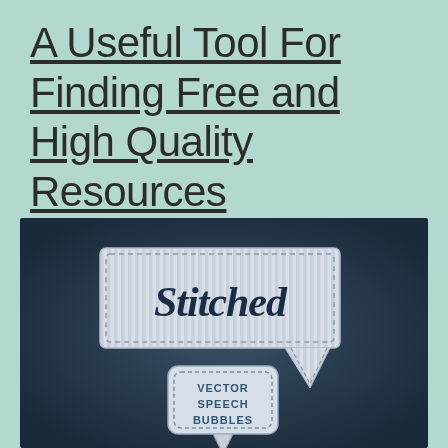A Useful Tool For Finding Free and High Quality Resources
[Figure (illustration): Stitched vector speech bubbles graphic on dark background. A large rectangular speech bubble with vertical stripe texture and dashed border stitching contains the script text 'Stitched'. Below it, a smaller rounded rectangle bubble with dashed border contains the text 'VECTOR SPEECH BUBBLES'. The large bubble has a pointing tail at the bottom right. Background is dark navy/charcoal with a radial gradient lighter in the center.]